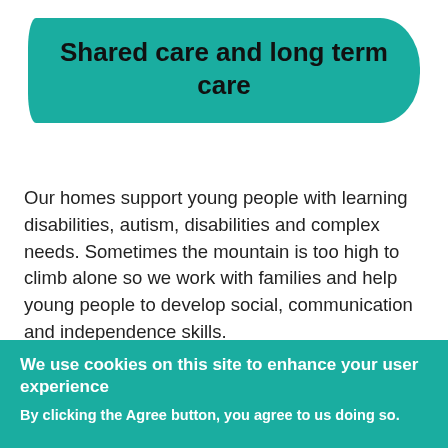Shared care and long term care
Our homes support young people with learning disabilities, autism, disabilities and complex needs. Sometimes the mountain is too high to climb alone so we work with families and help young people to develop social, communication and independence skills.
Our sensory-friendly homes with gardens, outdoor spaces and communal areas to enjoy and see young people flourish.
We use cookies on this site to enhance your user experience
By clicking the Agree button, you agree to us doing so.